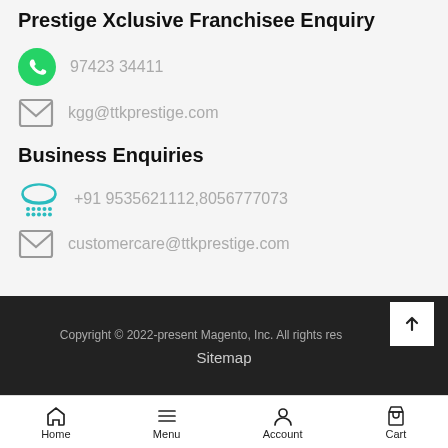Prestige Xclusive Franchisee Enquiry
97423 34411
kgg@ttkprestige.com
Business Enquiries
+91 9535621112,8056777073
customercare@ttkprestige.com
Copyright © 2022-present Magento, Inc. All rights reserved.
Sitemap
Home  Menu  Account  Cart